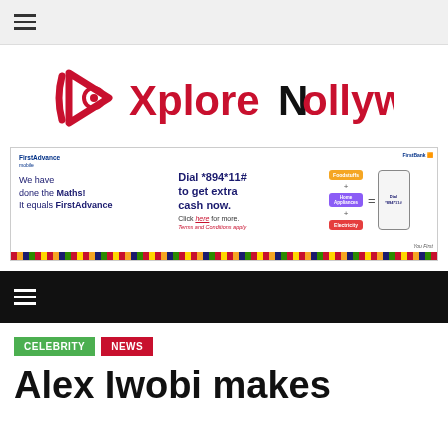Navigation menu (hamburger icon) on light grey top bar
[Figure (logo): XploreNollywood logo with red triangular icon and red text reading XploreNollywood]
[Figure (other): FirstAdvance bank advertisement banner: 'We have done the Maths! It equals FirstAdvance. Dial *894*11# to get extra cash now. Click here for more. Terms and Conditions apply.' with food, home appliances, electricity pills and phone mockup.]
Dark navigation bar with hamburger menu icon
CELEBRITY  NEWS
Alex Iwobi makes